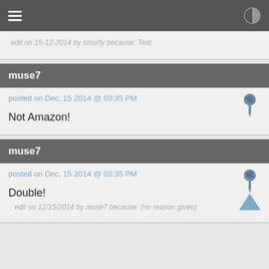Navigation bar with hamburger menu and contrast icon
edit on 15-12-2014 by smurfy because: Text.
muse7
posted on Dec, 15 2014 @ 03:35 PM
Not Amazon!
muse7
posted on Dec, 15 2014 @ 03:35 PM
Double!
edit on 12/15/2014 by muse7 because: (no reason given)